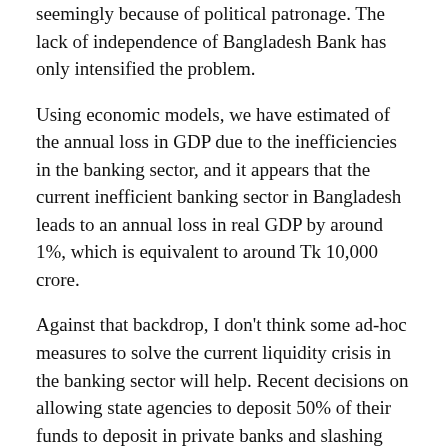seemingly because of political patronage. The lack of independence of Bangladesh Bank has only intensified the problem.
Using economic models, we have estimated of the annual loss in GDP due to the inefficiencies in the banking sector, and it appears that the current inefficient banking sector in Bangladesh leads to an annual loss in real GDP by around 1%, which is equivalent to around Tk 10,000 crore.
Against that backdrop, I don't think some ad-hoc measures to solve the current liquidity crisis in the banking sector will help. Recent decisions on allowing state agencies to deposit 50% of their funds to deposit in private banks and slashing CRR by 1.0 percentage point to 5.5% are